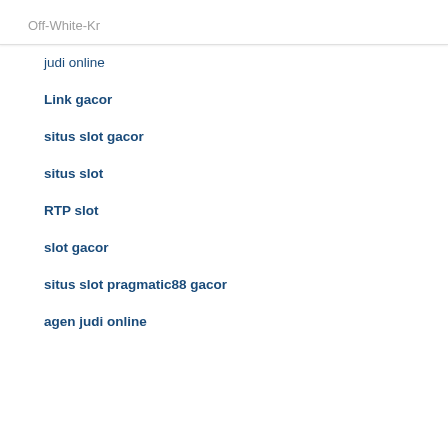Off-White-Kr
judi online
Link gacor
situs slot gacor
situs slot
RTP slot
slot gacor
situs slot pragmatic88 gacor
agen judi online